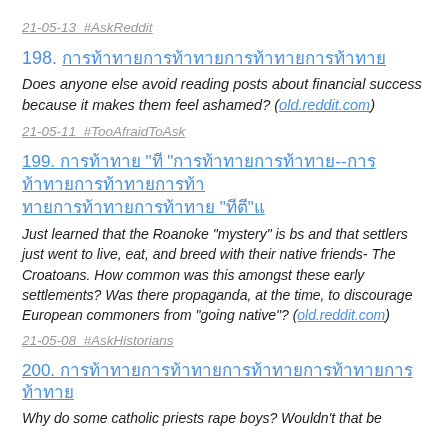21-05-13  #AskReddit
198. [Thai title text]
Does anyone else avoid reading posts about financial success because it makes them feel ashamed? (old.reddit.com)
21-05-11  #TooAfraidToAsk
199. [Thai title text]
Just learned that the Roanoke "mystery" is bs and that settlers just went to live, eat, and breed with their native friends- The Croatoans. How common was this amongst these early settlements? Was there propaganda, at the time, to discourage European commoners from "going native"? (old.reddit.com)
21-05-08  #AskHistorians
200. [Thai title text]
Why do some catholic priests rape boys? Wouldn't that be